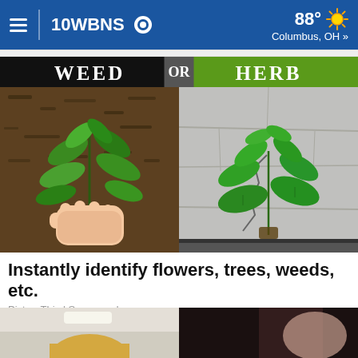10WBNS CBS | 88° Columbus, OH »
[Figure (illustration): Split image showing WEED on left (black background, green leafy plant held by hand over mulch ground) and HERB on right (green background, herb plant growing through concrete crack). Title text 'WEED OR HERB' across the top.]
Instantly identify flowers, trees, weeds, etc.
PictureThis | Sponsored
[Figure (photo): Bottom strip showing two partial images: left side appears to be an interior scene with a person, right side shows a dark close-up image.]